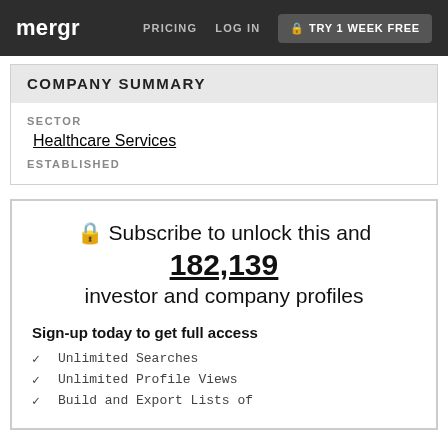mergr  PRICING  LOG IN  TRY 1 WEEK FREE
COMPANY SUMMARY
SECTOR
Healthcare Services
ESTABLISHED
🔒 Subscribe to unlock this and 182,139 investor and company profiles
Sign-up today to get full access
Unlimited Searches
Unlimited Profile Views
Build and Export Lists of